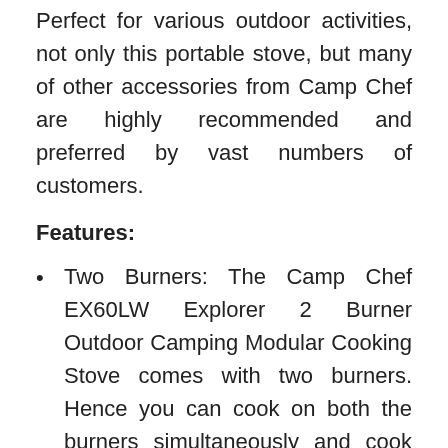Perfect for various outdoor activities, not only this portable stove, but many of other accessories from Camp Chef are highly recommended and preferred by vast numbers of customers.
Features:
Two Burners: The Camp Chef EX60LW Explorer 2 Burner Outdoor Camping Modular Cooking Stove comes with two burners. Hence you can cook on both the burners simultaneously and cook even faster.
Rock at the Tailgate Party: Whenever you have something like a Tailgate Party, with